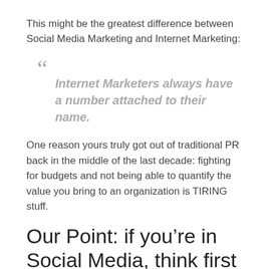This might be the greatest difference between Social Media Marketing and Internet Marketing:
“ Internet Marketers always have a number attached to their name.
One reason yours truly got out of traditional PR back in the middle of the last decade: fighting for budgets and not being able to quantify the value you bring to an organization is TIRING stuff.
Our Point: if you’re in Social Media, think first like an